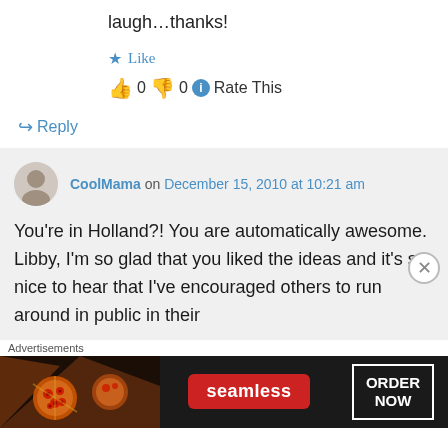laugh…thanks!
★ Like
👍 0 👎 0 ℹ Rate This
↪ Reply
CoolMama on December 15, 2010 at 10:21 am
You're in Holland?! You are automatically awesome.
Libby, I'm so glad that you liked the ideas and it's so nice to hear that I've encouraged others to run around in public in their
Advertisements
[Figure (screenshot): Seamless food delivery advertisement banner with pizza image, Seamless logo, and ORDER NOW call to action]